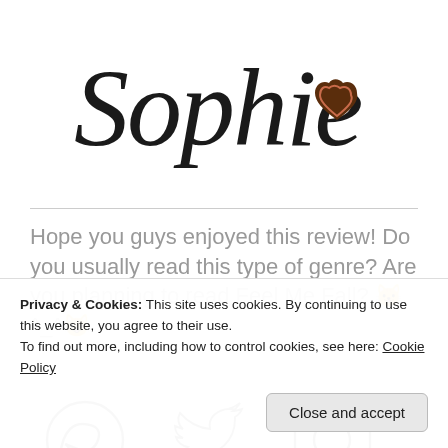[Figure (logo): Sophie blog logo with cursive 'Sophie' text and a chocolate heart icon]
Hope you guys enjoyed this review! Do you usually read this type of genre? Are you planning to read Feel Me Fall? 🐱^_^🐱
[Figure (illustration): Social media icons row: Google+, Twitter, Instagram (partially visible)]
Privacy & Cookies: This site uses cookies. By continuing to use this website, you agree to their use.
To find out more, including how to control cookies, see here: Cookie Policy